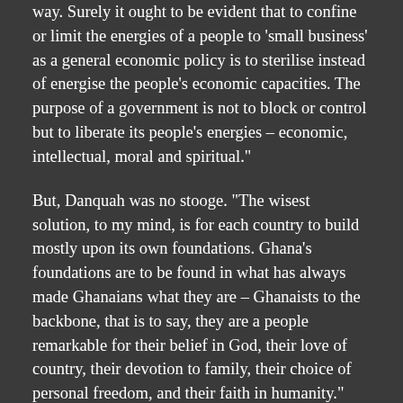way. Surely it ought to be evident that to confine or limit the energies of a people to 'small business' as a general economic policy is to sterilise instead of energise the people's economic capacities. The purpose of a government is not to block or control but to liberate its people's energies – economic, intellectual, moral and spiritual."
But, Danquah was no stooge. "The wisest solution, to my mind, is for each country to build mostly upon its own foundations. Ghana's foundations are to be found in what has always made Ghanaians what they are – Ghanaists to the backbone, that is to say, they are a people remarkable for their belief in God, their love of country, their devotion to family, their choice of personal freedom, and their faith in humanity."
Indeed, most political figures of the day, especially in the so-called Third World, were required to make a choice between East and West. For instance, Casekma, the main...